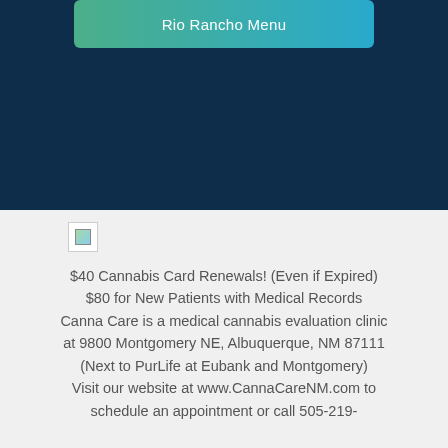[Figure (other): Navigation button with gradient green-to-blue background labeled Rio Rancho Menu]
[Figure (logo): Broken/missing image placeholder (small image icon with landscape thumbnail)]
$40 Cannabis Card Renewals! (Even if Expired)
$80 for New Patients with Medical Records
Canna Care is a medical cannabis evaluation clinic at 9800 Montgomery NE, Albuquerque, NM 87111 (Next to PurLife at Eubank and Montgomery)
Visit our website at www.CannaCareNM.com to schedule an appointment or call 505-219-